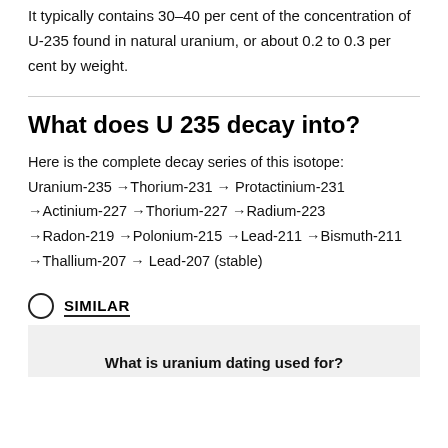It typically contains 30–40 per cent of the concentration of U-235 found in natural uranium, or about 0.2 to 0.3 per cent by weight.
What does U 235 decay into?
Here is the complete decay series of this isotope: Uranium-235 → Thorium-231 → Protactinium-231 → Actinium-227 → Thorium-227 → Radium-223 → Radon-219 → Polonium-215 → Lead-211 → Bismuth-211 → Thallium-207 → Lead-207 (stable)
SIMILAR
What is uranium dating used for?